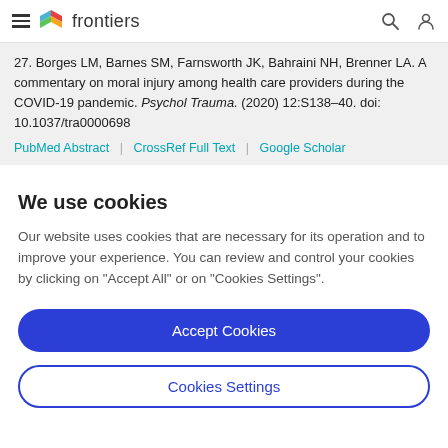frontiers
27. Borges LM, Barnes SM, Farnsworth JK, Bahraini NH, Brenner LA. A commentary on moral injury among health care providers during the COVID-19 pandemic. Psychol Trauma. (2020) 12:S138–40. doi: 10.1037/tra0000698
PubMed Abstract | CrossRef Full Text | Google Scholar
We use cookies
Our website uses cookies that are necessary for its operation and to improve your experience. You can review and control your cookies by clicking on "Accept All" or on "Cookies Settings".
Accept Cookies
Cookies Settings